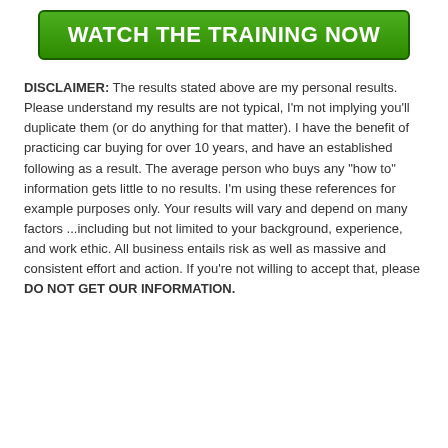[Figure (other): Green button with white bold text reading WATCH THE TRAINING NOW]
DISCLAIMER: The results stated above are my personal results. Please understand my results are not typical, I'm not implying you'll duplicate them (or do anything for that matter). I have the benefit of practicing car buying for over 10 years, and have an established following as a result. The average person who buys any "how to" information gets little to no results. I'm using these references for example purposes only. Your results will vary and depend on many factors ...including but not limited to your background, experience, and work ethic. All business entails risk as well as massive and consistent effort and action. If you're not willing to accept that, please DO NOT GET OUR INFORMATION.